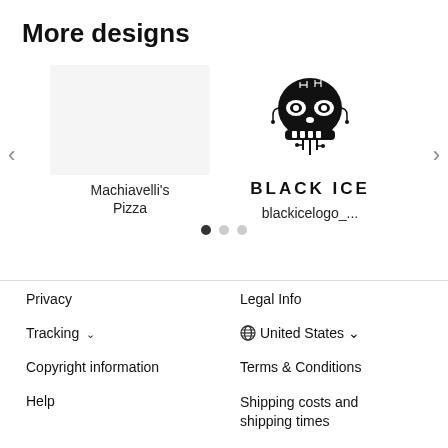More designs
[Figure (logo): Black Ice skull logo with circuit-board styling and 'BLACK ICE' text below]
Machiavelli's Pizza
blackicelogo_...
Privacy
Legal Info
Tracking ∨
🌐 United States ∨
Copyright information
Terms & Conditions
Help
Shipping costs and shipping times